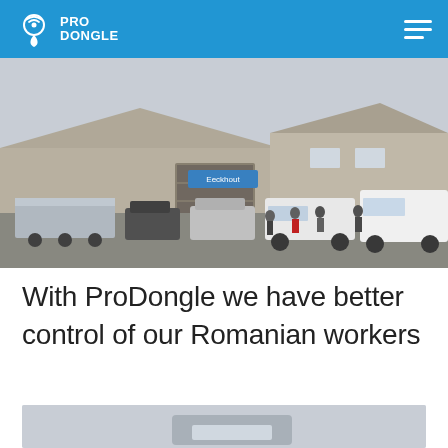PRO DONGLE
[Figure (photo): Outdoor photo of workers standing in front of white vans and a building with 'Eeckhout' sign. Several vehicles and a trailer are parked in the foreground on a paved lot.]
With ProDongle we have better control of our Romanian workers
[Figure (photo): Partial view of a vehicle or device, cropped at bottom of page.]